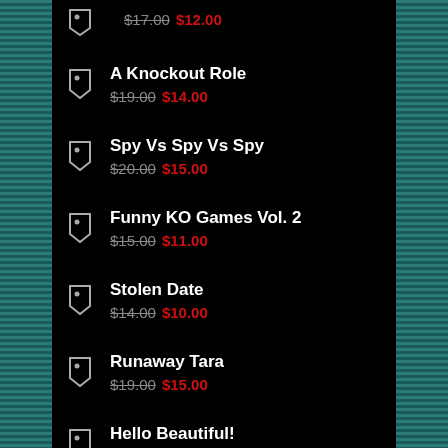$17.00 $12.00 (top partial item)
A Knockout Role $19.00 $14.00
Spy Vs Spy Vs Spy $20.00 $15.00
Funny KO Games Vol. 2 $15.00 $11.00
Stolen Date $14.00 $10.00
Runaway Tara $19.00 $15.00
Hello Beautiful!